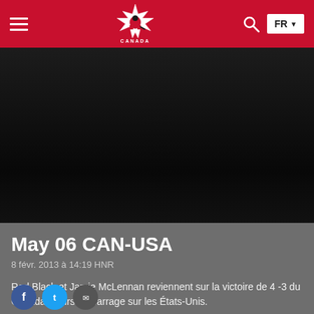[Figure (logo): Hockey Canada red navigation header with hamburger menu, Hockey Canada maple leaf logo, search icon, and FR language selector button]
[Figure (photo): Dark black video thumbnail area, nearly black with subtle gradient]
May 06 CAN-USA
8 févr. 2013 à 14:19 HNR
Rod Black et Jamie McLennan reviennent sur la victoire de 4 -3 du Canada en tirs de barrage sur les États-Unis.